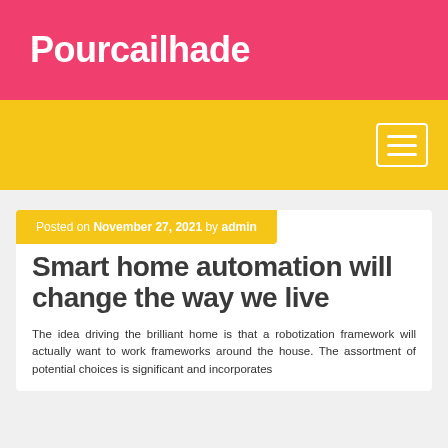Pourcailhade
Posted on November 27, 2021 by admin
Smart home automation will change the way we live
The idea driving the brilliant home is that a robotization framework will actually want to work frameworks around the house. The assortment of potential choices is significant and incorporates